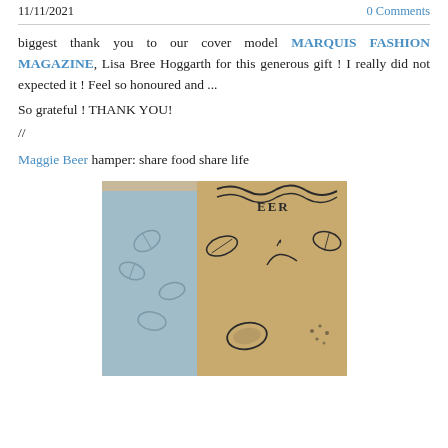11/11/2021   0 Comments
biggest thank you to our cover model MARQUIS FASHION MAGAZINE, Lisa Bree Hoggarth for this generous gift ! I really did not expected it ! Feel so honoured and ...
So grateful ! THANK YOU!
//
Maggie Beer hamper: share food share life
[Figure (photo): Photo of Maggie Beer hamper packaging with illustrated botanical prints of cherries, leaves, and nuts on kraft paper]